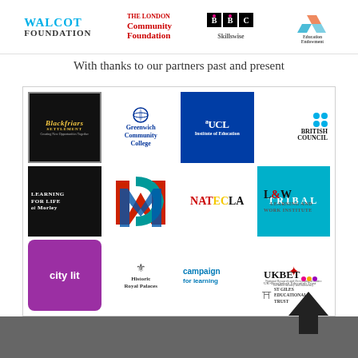[Figure (logo): Top row of partner logos: Walcot Foundation, The London Community Foundation, BBC Skillswise, Education Endowment Foundation]
With thanks to our partners past and present
[Figure (illustration): Grid of partner logos including: Blackfriars Settlement, Greenwich Community College, UCL Institute of Education, British Council, Tribal, Learning for Life at Morley, WMC, NATECLA, NRDC, L&W Learning and Work Institute, UKBET UK-Bangladesh Education Trust, City Lit, Historic Royal Palaces, Campaign for Learning, St Giles Educational Trust]